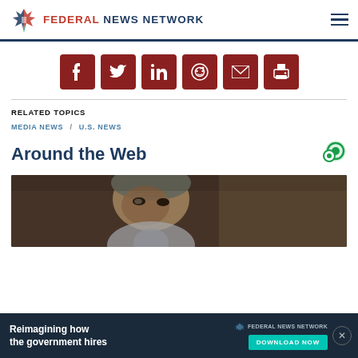FEDERAL NEWS NETWORK
[Figure (infographic): Social media sharing icons: Facebook, Twitter, LinkedIn, Reddit, Email, Print — dark red rounded square buttons]
RELATED TOPICS
MEDIA NEWS / U.S. NEWS
Around the Web
[Figure (photo): Close-up photo of an elderly man with gray hair and wrinkled face, looking slightly downward]
[Figure (infographic): Advertisement banner: 'Reimagining how the government hires' with Federal News Network logo and DOWNLOAD NOW button]